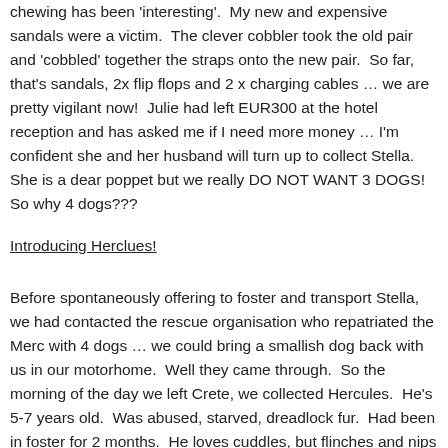chewing has been 'interesting'.  My new and expensive sandals were a victim.  The clever cobbler took the old pair and 'cobbled' together the straps onto the new pair.  So far, that's sandals, 2x flip flops and 2 x charging cables … we are pretty vigilant now!  Julie had left EUR300 at the hotel reception and has asked me if I need more money … I'm confident she and her husband will turn up to collect Stella.  She is a dear poppet but we really DO NOT WANT 3 DOGS!    So why 4 dogs???
Introducing Herclues!
Before spontaneously offering to foster and transport Stella, we had contacted the rescue organisation who repatriated the Merc with 4 dogs … we could bring a smallish dog back with us in our motorhome.  Well they came through.  So the morning of the day we left Crete, we collected Hercules.  He's 5-7 years old.  Was abused, starved, dreadlock fur.  Had been in foster for 2 months.  He loves cuddles, but flinches and nips and growls if you approach him fast or startle him.  He's had warning bites at both J and I.  And he is moulting big time.  I had no idea...